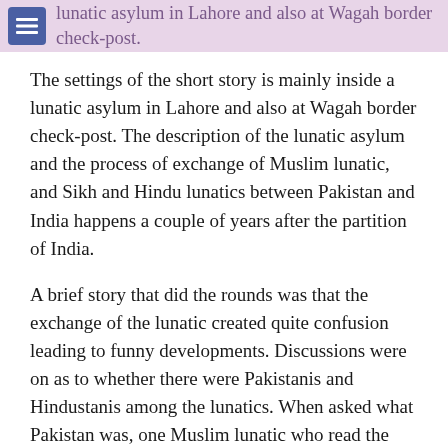The settings of the short story is mainly inside a lunatic asylum in Lahore and also at Wagah border check-post.
The settings of the short story is mainly inside a lunatic asylum in Lahore and also at Wagah border check-post. The description of the lunatic asylum and the process of exchange of Muslim lunatic, and Sikh and Hindu lunatics between Pakistan and India happens a couple of years after the partition of India.
A brief story that did the rounds was that the exchange of the lunatic created quite confusion leading to funny developments. Discussions were on as to whether there were Pakistanis and Hindustanis among the lunatics. When asked what Pakistan was, one Muslim lunatic who read the daily newspaper Zamindar, replied that it was a place in India. Likewise, a Sikh lunatic asked another Sikh why they were being deported to India where they did not know the language of the people. The other lunatic